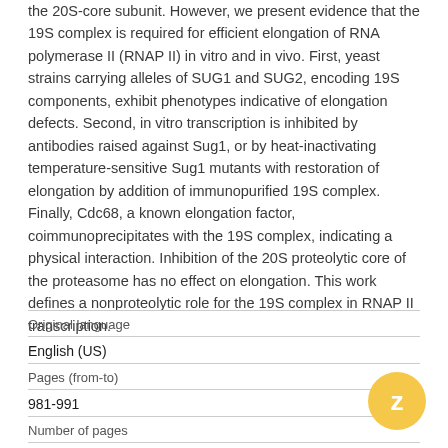the 20S-core subunit. However, we present evidence that the 19S complex is required for efficient elongation of RNA polymerase II (RNAP II) in vitro and in vivo. First, yeast strains carrying alleles of SUG1 and SUG2, encoding 19S components, exhibit phenotypes indicative of elongation defects. Second, in vitro transcription is inhibited by antibodies raised against Sug1, or by heat-inactivating temperature-sensitive Sug1 mutants with restoration of elongation by addition of immunopurified 19S complex. Finally, Cdc68, a known elongation factor, coimmunoprecipitates with the 19S complex, indicating a physical interaction. Inhibition of the 20S proteolytic core of the proteasome has no effect on elongation. This work defines a nonproteolytic role for the 19S complex in RNAP II transcription.
| Original language |  |
| English (US) |  |
| Pages (from-to) |  |
| 981-991 |  |
| Number of pages |  |
| 11 |  |